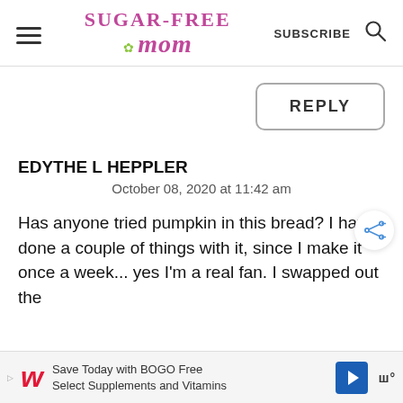Sugar-Free Mom | SUBSCRIBE
REPLY
EDYTHE L HEPPLER
October 08, 2020 at 11:42 am
Has anyone tried pumpkin in this bread? I have done a couple of things with it, since I make it once a week... yes I'm a real fan. I swapped out the
Save Today with BOGO Free Select Supplements and Vitamins